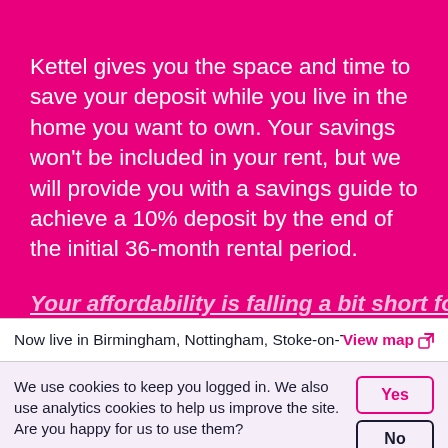Kettel gives you the space and time to save your deposit while you live in the home you want to own. Your savings won't be included in your rent, but we will provide you with a savings guide to achieve a 10% deposit by the end of the initial 36-month rental period.
Your affordability is falling a bit short for
Now live in Birmingham, Nottingham, Stoke-on-Tre
View map
We use cookies to keep you logged in. We also use analytics cookies to help us improve the site. Are you happy for us to use them?
Our cookie policy